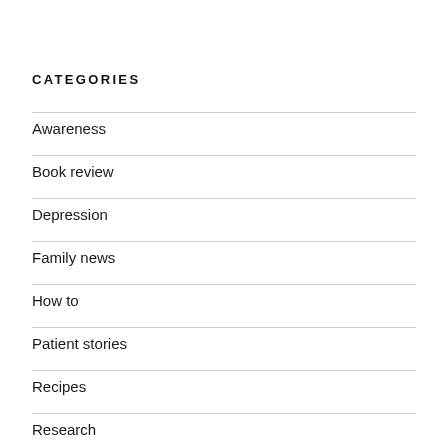CATEGORIES
Awareness
Book review
Depression
Family news
How to
Patient stories
Recipes
Research